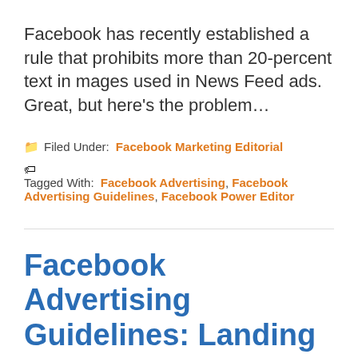Facebook has recently established a rule that prohibits more than 20-percent text in mages used in News Feed ads. Great, but here's the problem…
📁 Filed Under: Facebook Marketing Editorial
🏷 Tagged With: Facebook Advertising, Facebook Advertising Guidelines, Facebook Power Editor
Facebook Advertising Guidelines: Landing